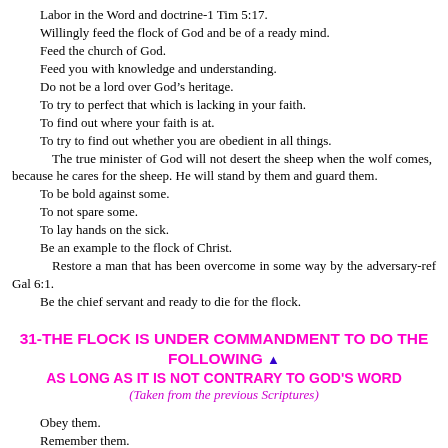Labor in the Word and doctrine-1 Tim 5:17.
Willingly feed the flock of God and be of a ready mind.
Feed the church of God.
Feed you with knowledge and understanding.
Do not be a lord over God’s heritage.
To try to perfect that which is lacking in your faith.
To find out where your faith is at.
To try to find out whether you are obedient in all things.
The true minister of God will not desert the sheep when the wolf comes, because he cares for the sheep. He will stand by them and guard them.
To be bold against some.
To not spare some.
To lay hands on the sick.
Be an example to the flock of Christ.
Restore a man that has been overcome in some way by the adversary-ref Gal 6:1.
Be the chief servant and ready to die for the flock.
31-THE FLOCK IS UNDER COMMANDMENT TO DO THE FOLLOWING ▲
AS LONG AS IT IS NOT CONTRARY TO GOD'S WORD
(Taken from the previous Scriptures)
Obey them.
Remember them.
Submit yourselves.
Follow them as they also follow Christ.
Follow their faith in Christ.